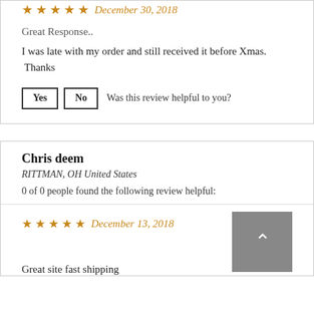★★★★★ December 30, 2018
Great Response..
I was late with my order and still received it before Xmas. Thanks
Yes  No  Was this review helpful to you?
Chris deem
RITTMAN, OH United States
0 of 0 people found the following review helpful:
★★★★★ December 13, 2018
Great site fast shipping